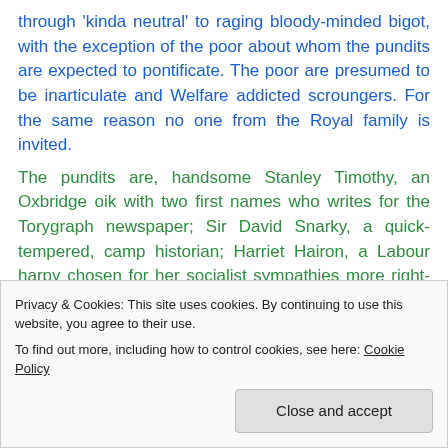through 'kinda neutral' to raging bloody-minded bigot, with the exception of the poor about whom the pundits are expected to pontificate. The poor are presumed to be inarticulate and Welfare addicted scroungers. For the same reason no one from the Royal family is invited.
The pundits are, handsome Stanley Timothy, an Oxbridge oik with two first names who writes for the Torygraph newspaper; Sir David Snarky, a quick-tempered, camp historian; Harriet Hairon, a Labour harpy chosen for her socialist sympathies more right-wing than Attila the Hun;
Privacy & Cookies: This site uses cookies. By continuing to use this website, you agree to their use.
To find out more, including how to control cookies, see here: Cookie Policy